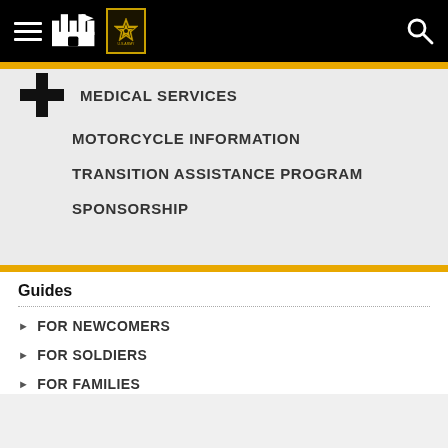[Figure (screenshot): U.S. Army website navigation bar with hamburger menu, castle icon, Army star seal, and search icon on black background]
MEDICAL SERVICES
MOTORCYCLE INFORMATION
TRANSITION ASSISTANCE PROGRAM
SPONSORSHIP
Guides
FOR NEWCOMERS
FOR SOLDIERS
FOR FAMILIES